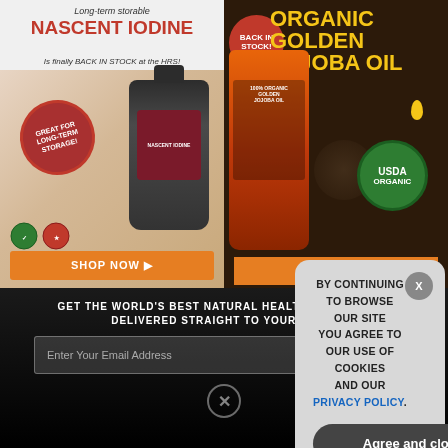[Figure (photo): Nascent Iodine advertisement: 'Long-term storable NASCENT IODINE Is finally BACK IN STOCK at the HRS!' with bottle image, 'GREAT FOR LONG-TERM STORAGE!' badge, SHOP NOW button]
[Figure (photo): Organic Golden Jojoba Oil advertisement: 'BACK IN STOCK!' badge, 'ORGANIC GOLDEN JOJOBA OIL' in yellow text, USDA ORGANIC seal, jojoba oil bottle, SHOP NOW button]
[Figure (photo): Brighteon Conversations advertisement showing a microphone in black and white with Brighteon Conversations logo]
[Figure (photo): Become An Affiliate advertisement with blue background, 'BECOME AN AFFILIATE' text, Health Ranger Store logo]
GET THE WORLD'S BEST NATURAL HEALTH NEWSLETTER DELIVERED STRAIGHT TO YOUR INBOX
Enter Your Email Address
SUBSCRIBE
BY CONTINUING TO BROWSE OUR SITE YOU AGREE TO OUR USE OF COOKIES AND OUR PRIVACY POLICY.
Agree and close